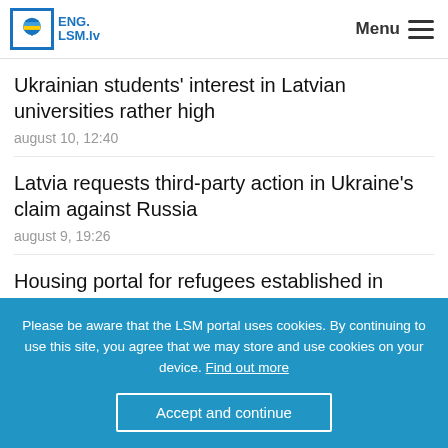ENG.LSM.lv Menu
Ukrainian students' interest in Latvian universities rather high
august 10, 12:40
Latvia requests third-party action in Ukraine's claim against Russia
august 9, 19:26
Housing portal for refugees established in Latvia
august 3, 12:34
Please be aware that the LSM portal uses cookies. By continuing to use this site, you agree that we may store and use cookies on your device. Find out more
Accept and continue